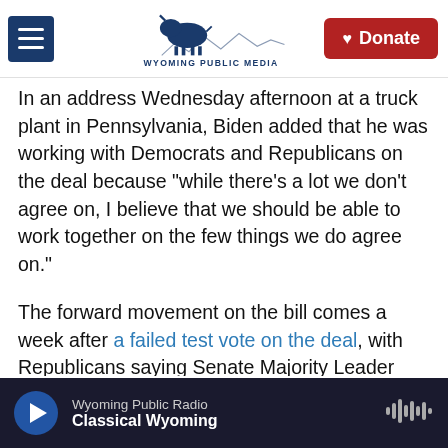[Figure (logo): Wyoming Public Media logo with bison and mountain landscape, hamburger menu button on left, Donate button on right]
In an address Wednesday afternoon at a truck plant in Pennsylvania, Biden added that he was working with Democrats and Republicans on the deal because "while there's a lot we don't agree on, I believe that we should be able to work together on the few things we do agree on."
The forward movement on the bill comes a week after a failed test vote on the deal, with Republicans saying Senate Majority Leader Chuck Schumer, D-N.Y., was moving too quickly.
The bill is expected to be around $1.2 trillion over
Wyoming Public Radio  Classical Wyoming